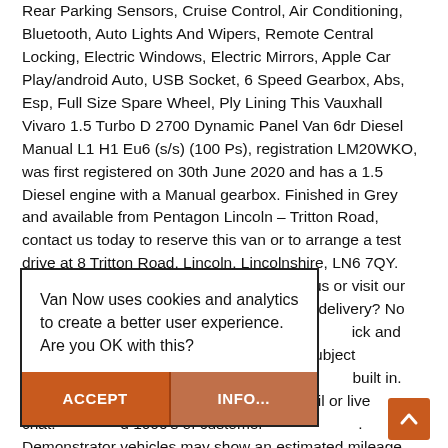Rear Parking Sensors, Cruise Control, Air Conditioning, Bluetooth, Auto Lights And Wipers, Remote Central Locking, Electric Windows, Electric Mirrors, Apple Car Play/android Auto, USB Socket, 6 Speed Gearbox, Abs, Esp, Full Size Spare Wheel, Ply Lining This Vauxhall Vivaro 1.5 Turbo D 2700 Dynamic Panel Van 6dr Diesel Manual L1 H1 Eu6 (s/s) (100 Ps), registration LM20WKO, was first registered on 30th June 2020 and has a 1.5 Diesel engine with a Manual gearbox. Finished in Grey and available from Pentagon Lincoln – Tritton Road, contact us today to reserve this van or to arrange a test drive at 8 Tritton Road, Lincoln, Lincolnshire, LN6 7QY. Got a Part Exchange? We love them! Call us or visit our website for a no obligation valuation. Need delivery? No problem. We can arrange contactless ick and collect, just ask finance for you, subject to Vans come with a minimum built in. You can call us from act us by email or live chat. d 1000's of customer . Demonstrator vehicles may show an estimated mileage based on the age of the vehicle as
Van Now uses cookies and analytics to create a better user experience. Are you OK with this?